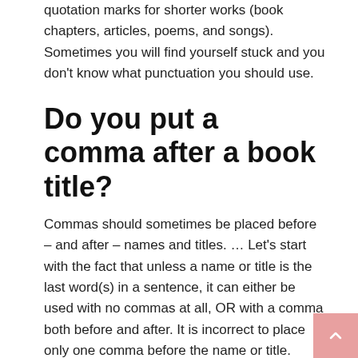quotation marks for shorter works (book chapters, articles, poems, and songs). Sometimes you will find yourself stuck and you don't know what punctuation you should use.
Do you put a comma after a book title?
Commas should sometimes be placed before – and after – names and titles. … Let's start with the fact that unless a name or title is the last word(s) in a sentence, it can either be used with no commas at all, OR with a comma both before and after. It is incorrect to place only one comma before the name or title.